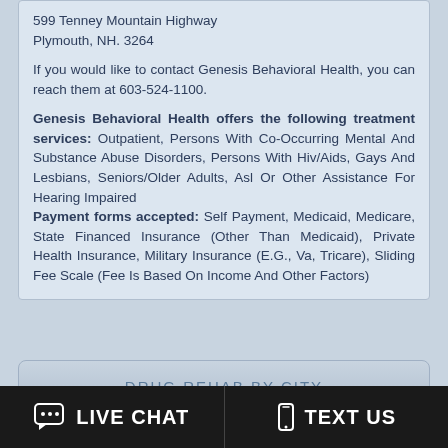599 Tenney Mountain Highway
Plymouth, NH. 3264
If you would like to contact Genesis Behavioral Health, you can reach them at 603-524-1100.
Genesis Behavioral Health offers the following treatment services: Outpatient, Persons With Co-Occurring Mental And Substance Abuse Disorders, Persons With Hiv/Aids, Gays And Lesbians, Seniors/Older Adults, Asl Or Other Assistance For Hearing Impaired
Payment forms accepted: Self Payment, Medicaid, Medicare, State Financed Insurance (Other Than Medicaid), Private Health Insurance, Military Insurance (E.G., Va, Tricare), Sliding Fee Scale (Fee Is Based On Income And Other Factors)
DRUG REHAB BY CITY
LIVE CHAT
TEXT US